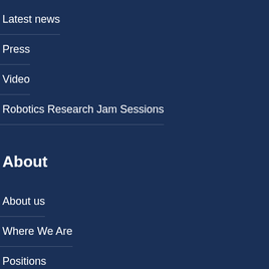Latest news
Press
Video
Robotics Research Jam Sessions
About
About us
Where We Are
Positions
Documents
Covid-19 and Safety
Purchases & requests